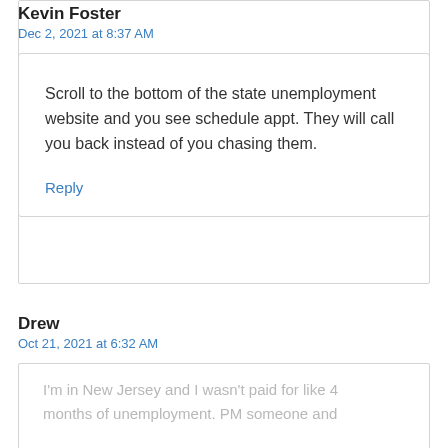Kevin Foster
Dec 2, 2021 at 8:37 AM
Scroll to the bottom of the state unemployment website and you see schedule appt. They will call you back instead of you chasing them.
Reply
Drew
Oct 21, 2021 at 6:32 AM
I'm in New Jersey and I wasn't paid for like 4 months of unemployment. PM someone and